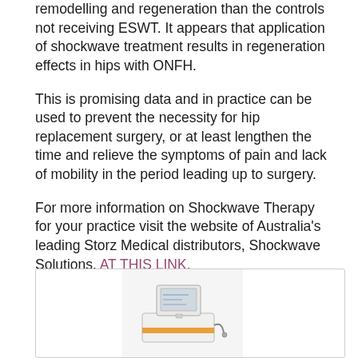remodelling and regeneration than the controls not receiving ESWT. It appears that application of shockwave treatment results in regeneration effects in hips with ONFH.
This is promising data and in practice can be used to prevent the necessity for hip replacement surgery, or at least lengthen the time and relieve the symptoms of pain and lack of mobility in the period leading up to surgery.
For more information on Shockwave Therapy for your practice visit the website of Australia's leading Storz Medical distributors, Shockwave Solutions, AT THIS LINK.
File Library
[Figure (photo): Photo of a Storz Medical shockwave therapy device — a white medical device with a monitor/display on top and handpiece, inside a bordered card in the File Library section.]